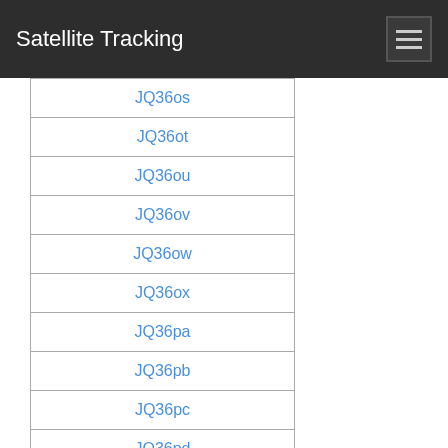Satellite Tracking
JQ36os
JQ36ot
JQ36ou
JQ36ov
JQ36ow
JQ36ox
JQ36pa
JQ36pb
JQ36pc
JQ36pd
JQ36pe
JQ36pf
JQ36pg
JQ36ph
JQ36pi
JQ36pj
JQ36pk